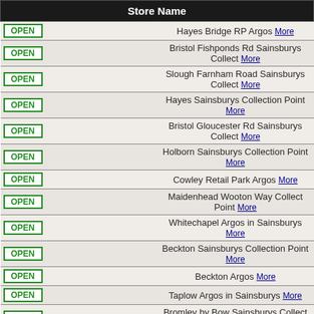| Store Name |
| --- |
| OPEN | Hayes Bridge RP Argos More |
| OPEN | Bristol Fishponds Rd Sainsburys Collect More |
| OPEN | Slough Farnham Road Sainsburys Collect More |
| OPEN | Hayes Sainsburys Collection Point More |
| OPEN | Bristol Gloucester Rd Sainsburys Collect More |
| OPEN | Holborn Sainsburys Collection Point More |
| OPEN | Cowley Retail Park Argos More |
| OPEN | Maidenhead Wooton Way Collect Point More |
| OPEN | Whitechapel Argos in Sainsburys More |
| OPEN | Beckton Sainsburys Collection Point More |
| OPEN | Beckton Argos More |
| OPEN | Taplow Argos in Sainsburys More |
| OPEN | Bromley by Bow Sainsburys Collect More |
| OPEN | Canvey Island Argos in Sainsburys More |
| OPEN | Old Street Argos More |
| OPEN | Ladbroke Grove Argos in Sainsburys More |
| OPEN | Shoreditch Old Street Sainsburys Collect More |
| OPEN | Bethnal Green Sainsburys Collect More |
| OPEN | Islington St John Sainsburys CP More |
| OPEN | Maidenhead Argos in Sainsburys More |
| OPEN | Portishead Sainsburys Collection Point More |
| OPEN | ... |